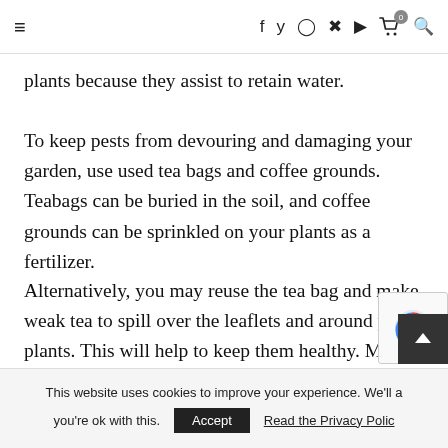≡  f  y  ⊙   pinterest  ▶  🛒⁰  🔍
plants because they assist to retain water.
To keep pests from devouring and damaging your garden, use used tea bags and coffee grounds. Teabags can be buried in the soil, and coffee grounds can be sprinkled on your plants as a fertilizer.
Alternatively, you may reuse the tea bag and make weak tea to spill over the leaflets and around your plants. This will help to keep them healthy. Mice, spiders, beetles, and even cats are scared off by the natural scent.
This website uses cookies to improve your experience. We'll assume you're ok with this. Accept  Read the Privacy Policy